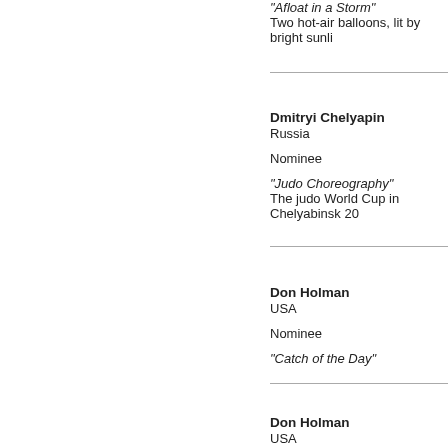"Afloat in a Storm"
Two hot-air balloons, lit by bright sunli
Dmitryi Chelyapin
Russia

Nominee

"Judo Choreography"
The judo World Cup in Chelyabinsk 20
Don Holman
USA

Nominee

"Catch of the Day"
Don Holman
USA

Nominee